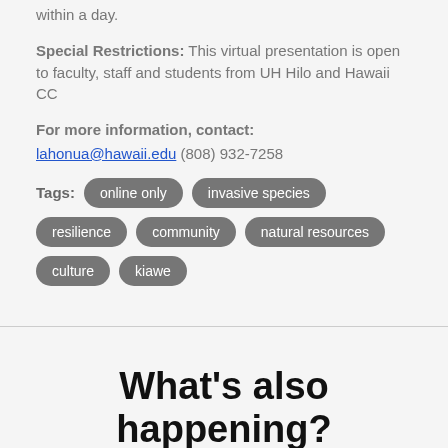within a day.
Special Restrictions: This virtual presentation is open to faculty, staff and students from UH Hilo and Hawaii CC
For more information, contact: lahonua@hawaii.edu (808) 932-7258
Tags: online only  invasive species  resilience  community  natural resources  culture  kiawe
What's also happening?